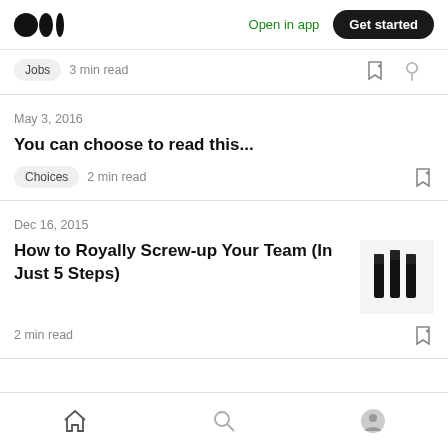Medium logo | Open in app | Get started
Jobs  3 min read
May 3, 2016
You can choose to read this...
Choices  2 min read
Dec 16, 2015
How to Royally Screw-up Your Team (In Just 5 Steps)
2 min read
Home | Search | Profile